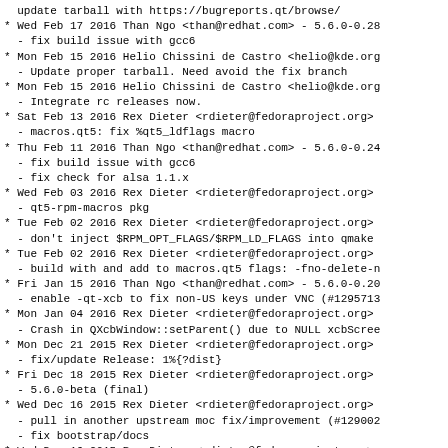update tarball with https://bugreports.qt/browse/
* Wed Feb 17 2016 Than Ngo <than@redhat.com> - 5.6.0-0.28
  - fix build issue with gcc6
* Mon Feb 15 2016 Helio Chissini de Castro <helio@kde.org
  - Update proper tarball. Need avoid the fix branch
* Mon Feb 15 2016 Helio Chissini de Castro <helio@kde.org
  - Integrate rc releases now.
* Sat Feb 13 2016 Rex Dieter <rdieter@fedoraproject.org>
  - macros.qt5: fix %qt5_ldflags macro
* Thu Feb 11 2016 Than Ngo <than@redhat.com> - 5.6.0-0.24
  - fix build issue with gcc6
  - fix check for alsa 1.1.x
* Wed Feb 03 2016 Rex Dieter <rdieter@fedoraproject.org>
  - qt5-rpm-macros pkg
* Tue Feb 02 2016 Rex Dieter <rdieter@fedoraproject.org>
  - don't inject $RPM_OPT_FLAGS/$RPM_LD_FLAGS into qmake
* Tue Feb 02 2016 Rex Dieter <rdieter@fedoraproject.org>
  - build with and add to macros.qt5 flags: -fno-delete-n
* Fri Jan 15 2016 Than Ngo <than@redhat.com> - 5.6.0-0.20
  - enable -qt-xcb to fix non-US keys under VNC (#1295713
* Mon Jan 04 2016 Rex Dieter <rdieter@fedoraproject.org>
  - Crash in QXcbWindow::setParent() due to NULL xcbScreen
* Mon Dec 21 2015 Rex Dieter <rdieter@fedoraproject.org>
  - fix/update Release: 1%{?dist}
* Fri Dec 18 2015 Rex Dieter <rdieter@fedoraproject.org>
  - 5.6.0-beta (final)
* Wed Dec 16 2015 Rex Dieter <rdieter@fedoraproject.org>
  - pull in another upstream moc fix/improvement (#129002
  - fix bootstrap/docs
* Wed Dec 16 2015 Rex Dieter <rdieter@fedoraproject.org>
  - workaround moc/qconfig_multilib issues (#1290020, QTB